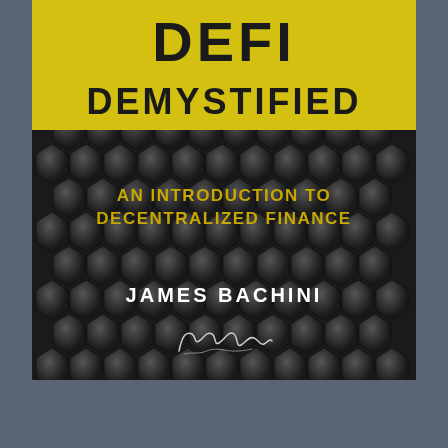[Figure (illustration): Book cover for 'DeFi Demystified: An Introduction to Decentralized Finance' by James Bachini. Dark hexagonal pattern background with yellow banner containing 'DeFi' in large black text, yellow 'Demystified' banner, yellow subtitle text, white author name, and a handwritten signature.]
DeFi Demystified
AN INTRODUCTION TO DECENTRALIZED FINANCE
JAMES BACHINI